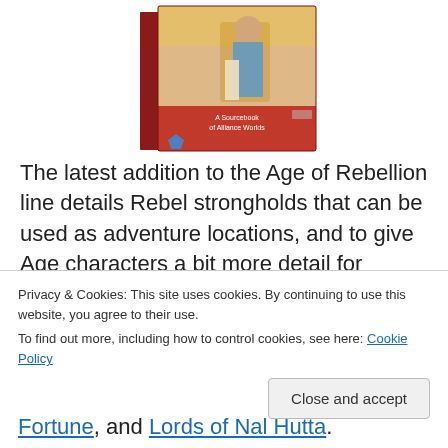[Figure (photo): Book cover of a Star Wars Age of Rebellion sourcebook titled 'A Sourcebook of Alliance Worlds', showing a character in a dramatic pose against a sci-fi background, with a red cover and blue spine.]
The latest addition to the Age of Rebellion line details Rebel strongholds that can be used as adventure locations, and to give Age characters a bit more detail for common home worlds of typical rebel races like Mon Calamari, Gran, and Sullustans. Interestingly it also details
Privacy & Cookies: This site uses cookies. By continuing to use this website, you agree to their use.
To find out more, including how to control cookies, see here: Cookie Policy
Close and accept
Fortune, and Lords of Nal Hutta.